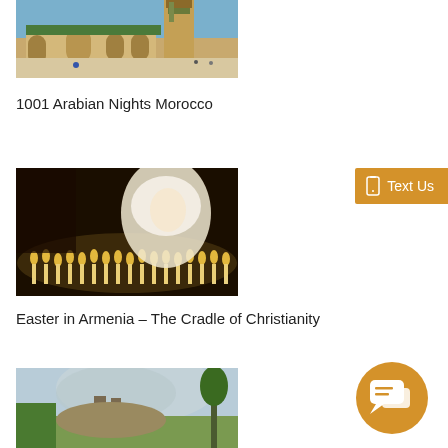[Figure (photo): Hassan II Mosque in Casablanca, Morocco — large mosque with tall minaret against a blue sky]
1001 Arabian Nights Morocco
[Figure (photo): Woman in white lace veil surrounded by candles in a dark church — Easter in Armenia]
Easter in Armenia – The Cradle of Christianity
[Figure (photo): Landscape with a monastery or fortress on a hill, mountains and green fields in Armenia]
[Figure (other): Orange 'Text Us' button with phone icon on right side]
[Figure (other): Orange circular chat bubble icon at bottom right]